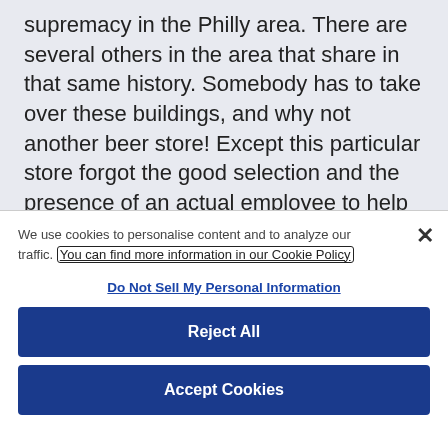supremacy in the Philly area. There are several others in the area that share in that same history. Somebody has to take over these buildings, and why not another beer store! Except this particular store forgot the good selection and the presence of an actual employee to help and ring up customers. This store has the usual suspects, including local micros. There is absolutely no reason to stop by this place, unless it's on your way and you really need some booze.”
We use cookies to personalise content and to analyze our traffic. You can find more information in our Cookie Policy
Do Not Sell My Personal Information
Reject All
Accept Cookies